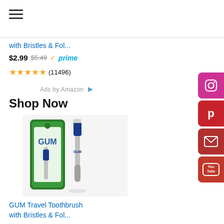[Figure (screenshot): Hamburger menu icon with three horizontal lines]
with Bristles & Fol...
$2.99  $5.49  prime
(11496)
Ads by Amazon
Shop Now
[Figure (photo): GUM Travel Toothbrush product photo showing toothbrush in green packaging and standalone]
GUM Travel Toothbrush with Bristles & Fol...
$2.69  prime
(11547)
[Figure (other): Instagram social share button (pink/magenta)]
[Figure (other): Pinterest social share button (red)]
[Figure (other): Email social share button (dark red)]
[Figure (other): YouTube social share button (red)]